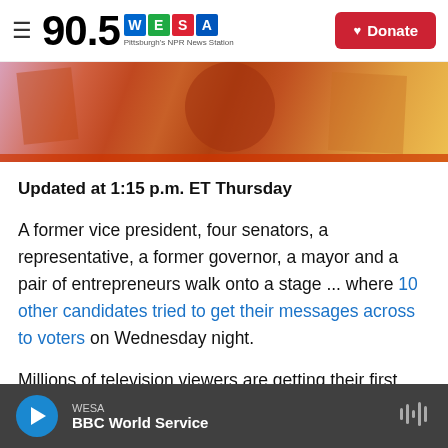90.5 WESA Pittsburgh's NPR News Station | Donate
[Figure (photo): Abstract colorful artwork showing house-like shapes in orange, red, pink, and yellow tones]
Updated at 1:15 p.m. ET Thursday
A former vice president, four senators, a representative, a former governor, a mayor and a pair of entrepreneurs walk onto a stage ... where 10 other candidates tried to get their messages across to voters on Wednesday night.
Millions of television viewers are getting their first
WESA | BBC World Service